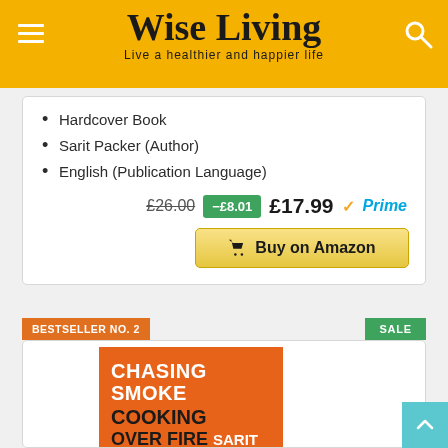Wise Living — Live a healthier and happier life
Hardcover Book
Sarit Packer (Author)
English (Publication Language)
£26.00  -£8.01  £17.99 Prime
Buy on Amazon
BESTSELLER NO. 2
SALE
[Figure (photo): Book cover of Chasing Smoke: Cooking Over Fire Around The Levant by Sarit Packer and Itamar — orange cover with bold text]